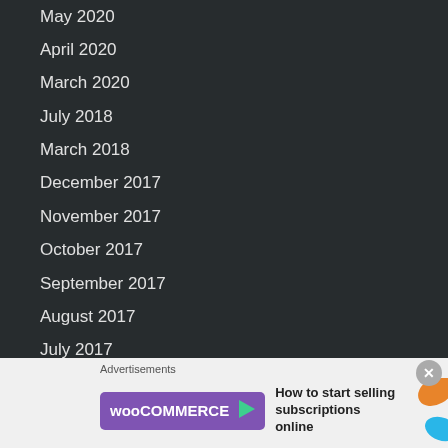May 2020
April 2020
March 2020
July 2018
March 2018
December 2017
November 2017
October 2017
September 2017
August 2017
July 2017
May 2017
April 2017
March 2017
December 2016
[Figure (infographic): WooCommerce advertisement banner with logo and text 'How to start selling subscriptions online']